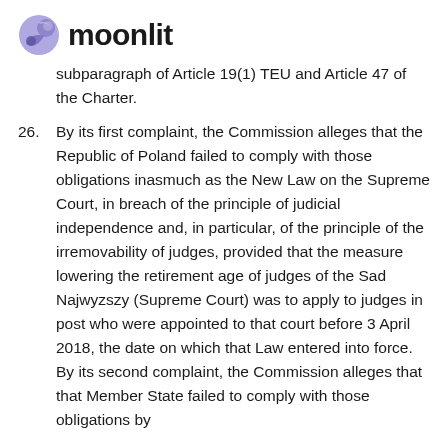moonlit
subparagraph of Article 19(1) TEU and Article 47 of the Charter.
26. By its first complaint, the Commission alleges that the Republic of Poland failed to comply with those obligations inasmuch as the New Law on the Supreme Court, in breach of the principle of judicial independence and, in particular, of the principle of the irremovability of judges, provided that the measure lowering the retirement age of judges of the Sad Najwyzszy (Supreme Court) was to apply to judges in post who were appointed to that court before 3 April 2018, the date on which that Law entered into force. By its second complaint, the Commission alleges that that Member State failed to comply with those obligations by